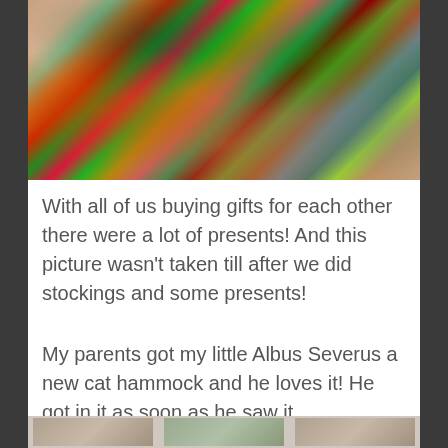[Figure (photo): A photo showing a large pile of Christmas presents — wrapped gifts in red, green, and festive patterns, along with gift bags, on a wooden floor.]
With all of us buying gifts for each other there were a lot of presents! And this picture wasn't taken till after we did stockings and some presents!
My parents got my little Albus Severus a new cat hammock and he loves it! He got in it as soon as he saw it.
[Figure (photo): Partial view of photos at the bottom of the page (cropped/cut off).]